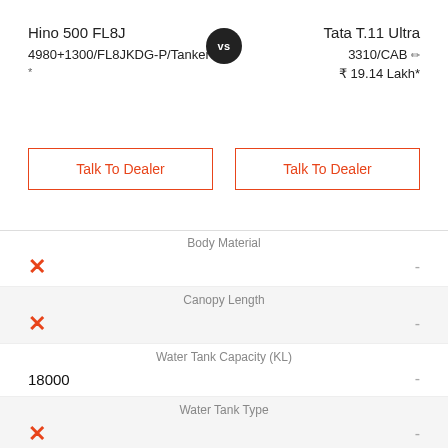Hino 500 FL8J 4980+1300/FL8JKDG-P/Tanker vs Tata T.11 Ultra 3310/CAB
₹ 19.14 Lakh*
Talk To Dealer (left)
Talk To Dealer (right)
| Hino 500 FL8J | Spec | Tata T.11 Ultra 3310/CAB |
| --- | --- | --- |
| ✗ | Body Material | - |
| ✗ | Canopy Length | - |
| 18000 | Water Tank Capacity (KL) | - |
| ✗ | Water Tank Type | - |
| ✗ | No. Of Valves | - |